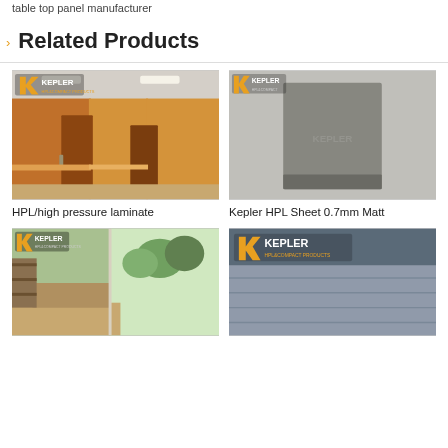table top panel manufacturer
Related Products
[Figure (photo): HPL/high pressure laminate — interior corridor with orange-brown wood panel walls and doors, Kepler HPL&Compact Products logo in top-left corner]
HPL/high pressure laminate
[Figure (photo): Kepler HPL Sheet 0.7mm Matt — grey rectangular laminate sheet sample on grey background, Kepler logo in top-left corner, KEPLER watermark in center]
Kepler HPL Sheet 0.7mm Matt
[Figure (photo): Partial product image — room interior with natural light and shelving, Kepler logo top-left]
[Figure (photo): Partial product image — grey compact panel with ribbed texture, Kepler HPL&Compact Products logo]